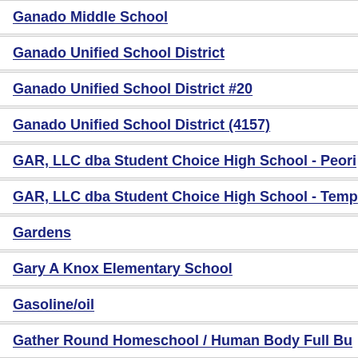Ganado Middle School
Ganado Unified School District
Ganado Unified School District #20
Ganado Unified School District (4157)
GAR, LLC dba Student Choice High School - Peori
GAR, LLC dba Student Choice High School - Temp
Gardens
Gary A Knox Elementary School
Gasoline/oil
Gather Round Homeschool / Human Body Full Bu
Gavilan Peak ES/New River ES